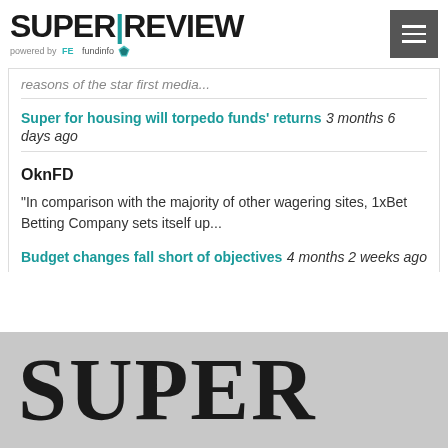SUPER|REVIEW powered by FE fundinfo
reasons of the star first media...
Super for housing will torpedo funds' returns 3 months 6 days ago
OknFD
"In comparison with the majority of other wagering sites, 1xBet Betting Company sets itself up...
Budget changes fall short of objectives 4 months 2 weeks ago
SUPER